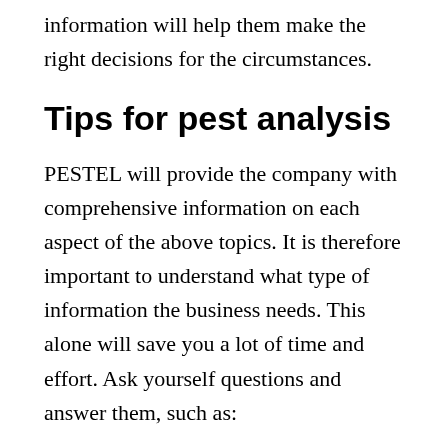information will help them make the right decisions for the circumstances.
Tips for pest analysis
PESTEL will provide the company with comprehensive information on each aspect of the above topics. It is therefore important to understand what type of information the business needs. This alone will save you a lot of time and effort. Ask yourself questions and answer them, such as:
What do I have now, and what do I need to